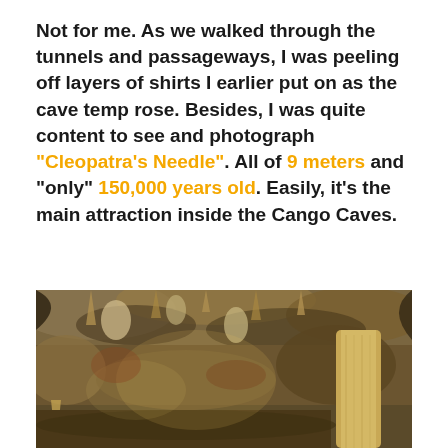Not for me. As we walked through the tunnels and passageways, I was peeling off layers of shirts I earlier put on as the cave temp rose. Besides, I was quite content to see and photograph "Cleopatra's Needle". All of 9 meters and "only" 150,000 years old. Easily, it's the main attraction inside the Cango Caves.
[Figure (photo): Interior photograph of Cango Caves showing cave formations including stalactites, stalagmites and cave walls illuminated with warm golden/brown light. A large column formation is visible on the right side of the image.]